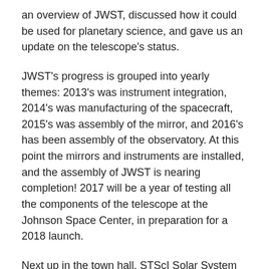an overview of JWST, discussed how it could be used for planetary science, and gave us an update on the telescope's status.
JWST's progress is grouped into yearly themes: 2013's was instrument integration, 2014's was manufacturing of the spacecraft, 2015's was assembly of the mirror, and 2016's has been assembly of the observatory. At this point the mirrors and instruments are installed, and the assembly of JWST is nearing completion! 2017 will be a year of testing all the components of the telescope at the Johnson Space Center, in preparation for a 2018 launch.
Next up in the town hall, STScI Solar System Science Lead John Stansberry provided us with details of JWST's observing modes and capabilities, and discussed what they mean for astronomers interested in proposing observing time on the telescope, particularly for planetary